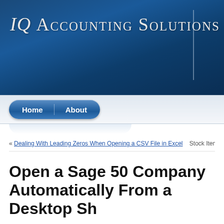[Figure (screenshot): IQ Accounting Solutions website header banner with dark blue gradient background and site title text]
IQ Accounting Solutions
Home  About
« Dealing With Leading Zeros When Opening a CSV File in Excel    Stock Items vs Non-stock I
Open a Sage 50 Company Automatically From a Desktop Sh
Someone asked recently if they could create a shortcut on their desktop that would open a specific company in Sage 50. In fact it's not hard to do at all. Since many of us work with multiple companies I thought the answer would be worth sharing.